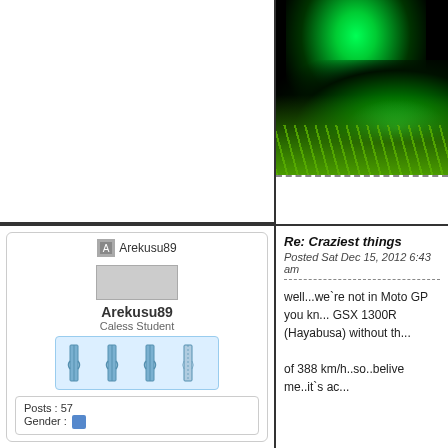[Figure (photo): Dark nature/underwater photograph with glowing green plants and foliage against a black background]
[Figure (photo): User avatar placeholder image for Arekusu89]
Arekusu89
Arekusu89
Caless Student
Posts : 57
Gender :
Re: Craziest things
Posted Sat Dec 15, 2012 6:43 am
well...we`re not in Moto GP you kn... GSX 1300R (Hayabusa) without th...
of 388 km/h..so..belive me..it`s ac...